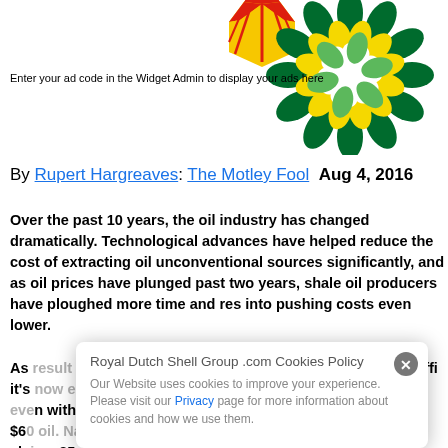[Figure (logo): Shell logo (partially visible, top center-left) and BP sunflower logo (top right), overlapping with ad widget placeholder text]
Enter your ad code in the Widget Admin to display your ads here
By Rupert Hargreaves: The Motley Fool  Aug 4, 2016
Over the past 10 years, the oil industry has changed dramatically. Technological advances have helped reduce the cost of extracting oil unconventional sources significantly, and as oil prices have plunged past two years, shale oil producers have ploughed more time and res into pushing costs even lower.
As a result of this unrelenting drive to reduce costs and increase efficiency, it's now estimated that some U.S. shale producers can break even with $60 oil. Natural Resource...claims...25 a b...
Royal Dutch Shell Group .com Cookies Policy
Our Website uses cookies to improve your experience. Please visit our Privacy page for more information about cookies and how we use them.